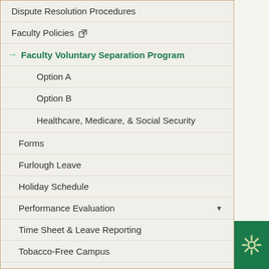Dispute Resolution Procedures
Faculty Policies [external link]
→ Faculty Voluntary Separation Program (active)
Option A
Option B
Healthcare, Medicare, & Social Security
Forms
Furlough Leave
Holiday Schedule
Performance Evaluation ▼
Time Sheet & Leave Reporting
Tobacco-Free Campus
University Policy [external link]
Workplace Conflict
Professional Development ▼
Hiring & Managing ▼
Contact Us ▼